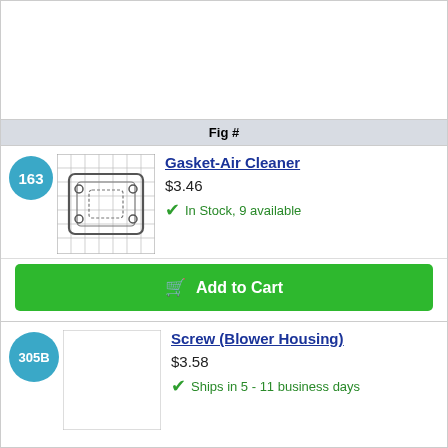[Figure (other): Top white image area (partial product diagram, cut off)]
Fig #
[Figure (illustration): Gasket-Air Cleaner part diagram on grid background]
Gasket-Air Cleaner
$3.46
In Stock, 9 available
Add to Cart
[Figure (illustration): Screw (Blower Housing) part image, white/blank]
Screw (Blower Housing)
$3.58
Ships in 5 - 11 business days